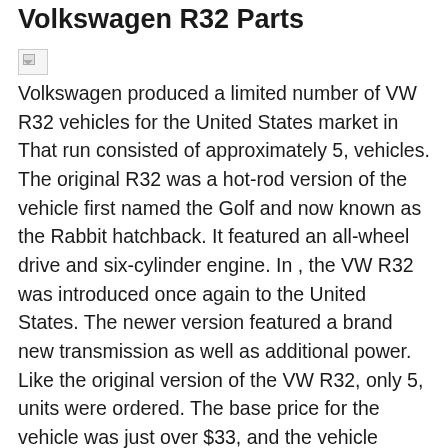Volkswagen R32 Parts
[Figure (photo): Broken image placeholder]
Volkswagen produced a limited number of VW R32 vehicles for the United States market in That run consisted of approximately 5, vehicles. The original R32 was a hot-rod version of the vehicle first named the Golf and now known as the Rabbit hatchback. It featured an all-wheel drive and six-cylinder engine. In , the VW R32 was introduced once again to the United States. The newer version featured a brand new transmission as well as additional power. Like the original version of the VW R32, only 5, units were ordered. The base price for the vehicle was just over $33, and the vehicle offered a fuel economy of 18 miles per gallon in the city and 23 miles per gallon on the highway.